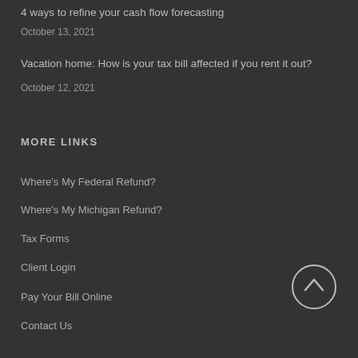4 ways to refine your cash flow forecasting
October 13, 2021
Vacation home: How is your tax bill affected if you rent it out?
October 12, 2021
MORE LINKS
Where's My Federal Refund?
Where's My Michigan Refund?
Tax Forms
Client Login
Pay Your Bill Online
Contact Us